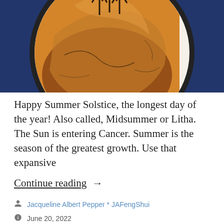[Figure (photo): A tarot card or decorative plate showing orange and brown illustrated imagery on a circular white plate labeled 'DISCS' in italic lettering, set against a dark navy blue background.]
Happy Summer Solstice, the longest day of the year! Also called, Midsummer or Litha. The Sun is entering Cancer. Summer is the season of the greatest growth. Use that expansive
Continue reading  →
Jacqueline Albert Pepper * JAFengShui
June 20, 2022
Chinese Astrology, Tarot, Uncategorized
astrology, Chinese Astrology, Feng Shui Tarot,